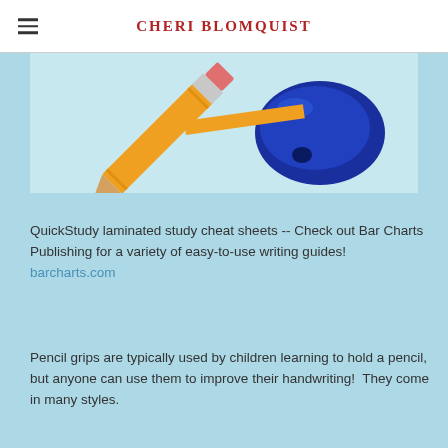CHERI BLOMQUIST
[Figure (photo): Close-up photo of a pencil tip and a blue pencil grip/eraser cap on a light background]
QuickStudy laminated study cheat sheets -- Check out Bar Charts Publishing for a variety of easy-to-use writing guides!  barcharts.com
Pencil grips are typically used by children learning to hold a pencil, but anyone can use them to improve their handwriting!  They come in many styles.